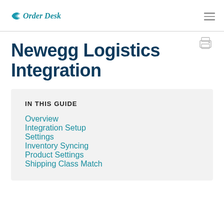Order Desk
Newegg Logistics Integration
IN THIS GUIDE
Overview
Integration Setup
Settings
Inventory Syncing
Product Settings
Shipping Class Match